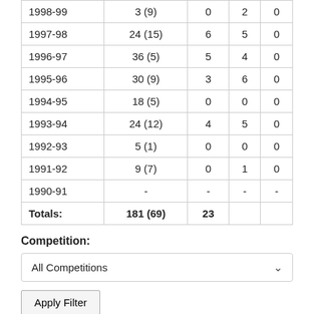|  | Apps | Gls |  |  |
| --- | --- | --- | --- | --- |
| 1998-99 | 3 (9) | 0 | 2 | 0 |
| 1997-98 | 24 (15) | 6 | 5 | 0 |
| 1996-97 | 36 (5) | 5 | 4 | 0 |
| 1995-96 | 30 (9) | 3 | 6 | 0 |
| 1994-95 | 18 (5) | 0 | 0 | 0 |
| 1993-94 | 24 (12) | 4 | 5 | 0 |
| 1992-93 | 5 (1) | 0 | 0 | 0 |
| 1991-92 | 9 (7) | 0 | 1 | 0 |
| 1990-91 | - | - | - | - |
| Totals: | 181 (69) | 23 |  |  |
Competition:
All Competitions
Apply Filter
Apps = First Team Appearances (Sub Appearances) | Gls =